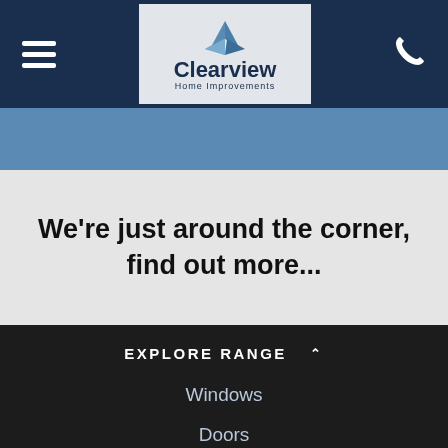[Figure (logo): Clearview Home Improvements logo with blue fan/pinwheel icon and company name in dark blue text on light grey background, within a dark navy mobile header bar with hamburger menu icon on left and phone icon on right]
We're just around the corner, find out more...
EXPLORE RANGE ∧
Windows
Doors
Front & Back Doors